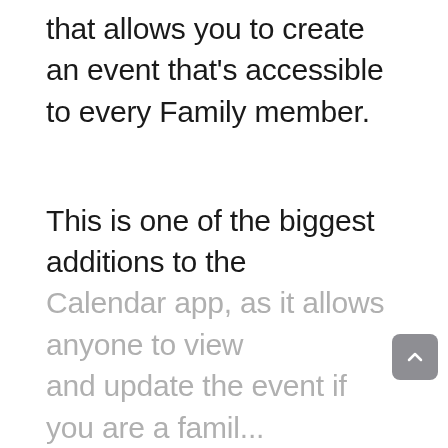the Stock Calendar app includes an option that allows you to create an event that's accessible to every Family member.
This is one of the biggest additions to the Calendar app, as it allows anyone to view and update the event if you are a family...